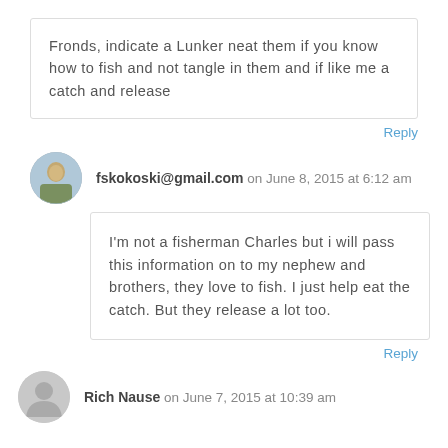Fronds, indicate a Lunker neat them if you know how to fish and not tangle in them and if like me a catch and release
Reply
fskokoski@gmail.com on June 8, 2015 at 6:12 am
I'm not a fisherman Charles but i will pass this information on to my nephew and brothers, they love to fish. I just help eat the catch. But they release a lot too.
Reply
Rich Nause on June 7, 2015 at 10:39 am